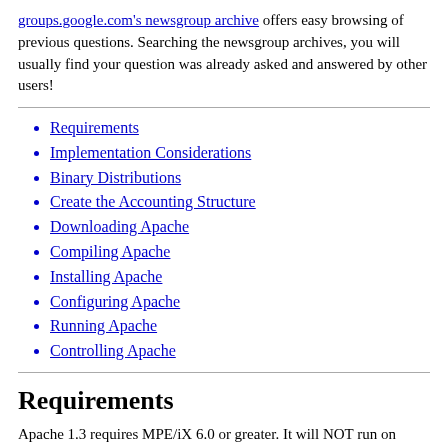groups.google.com's newsgroup archive offers easy browsing of previous questions. Searching the newsgroup archives, you will usually find your question was already asked and answered by other users!
Requirements
Implementation Considerations
Binary Distributions
Create the Accounting Structure
Downloading Apache
Compiling Apache
Installing Apache
Configuring Apache
Running Apache
Controlling Apache
Requirements
Apache 1.3 requires MPE/iX 6.0 or greater.  It will NOT run on earlier releases of MPE/iX.  The following MPE/iX patches (or their superseding descendants) are relevant to Apache: